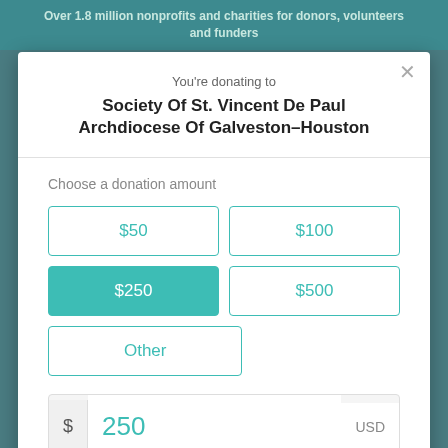Over 1.8 million nonprofits and charities for donors, volunteers and funders
You're donating to
Society Of St. Vincent De Paul Archdiocese Of Galveston–Houston
Choose a donation amount
$50
$100
$250 (selected)
$500
Other
$ 250 USD